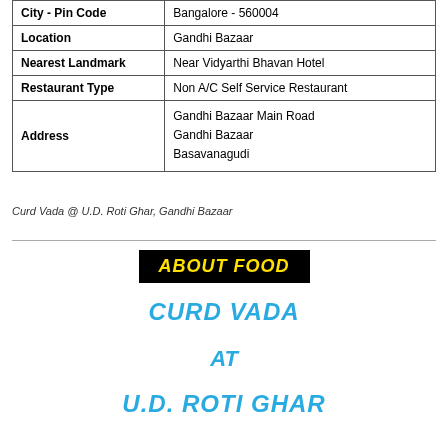| City - Pin Code | Bangalore - 560004 |
| Location | Gandhi Bazaar |
| Nearest Landmark | Near Vidyarthi Bhavan Hotel |
| Restaurant Type | Non A/C Self Service Restaurant |
| Address | Gandhi Bazaar Main Road
Gandhi Bazaar
Basavanagudi |
Curd Vada @ U.D. Roti Ghar, Gandhi Bazaar
ABOUT FOOD
CURD VADA
AT
U.D. ROTI GHAR